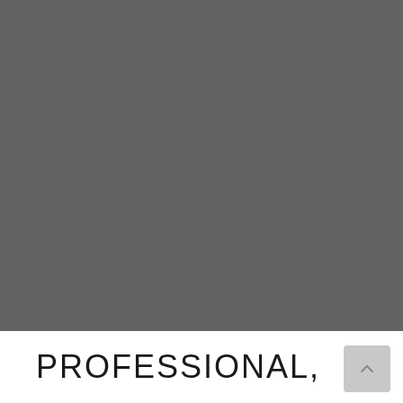[Figure (photo): Large gray rectangular image placeholder occupying the top portion of the page]
PROFESSIONAL,